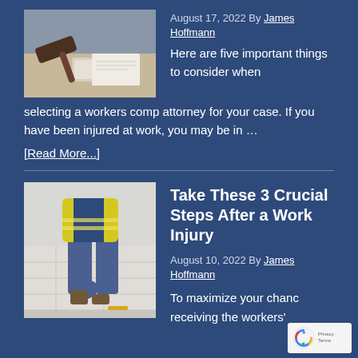[Figure (photo): Photo of a judge's gavel on a desk with papers and a keyboard in the background]
August 17, 2022 By James Hoffmann
Here are five important things to consider when selecting a workers comp attorney for your case. If you have been injured at work, you may be in …
[Read More...]
[Figure (photo): Photo of a construction worker in a yellow safety vest holding their leg as if injured, standing on a job site]
Take These 3 Crucial Steps After a Work Injury
August 10, 2022 By James Hoffmann
To maximize your chances of receiving the workers' compensation benefits you are entitled to, it is…